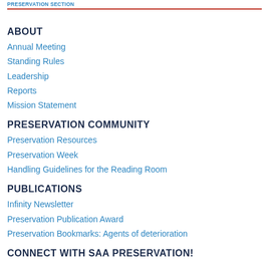PRESERVATION SECTION
ABOUT
Annual Meeting
Standing Rules
Leadership
Reports
Mission Statement
PRESERVATION COMMUNITY
Preservation Resources
Preservation Week
Handling Guidelines for the Reading Room
PUBLICATIONS
Infinity Newsletter
Preservation Publication Award
Preservation Bookmarks: Agents of deterioration
CONNECT WITH SAA PRESERVATION!